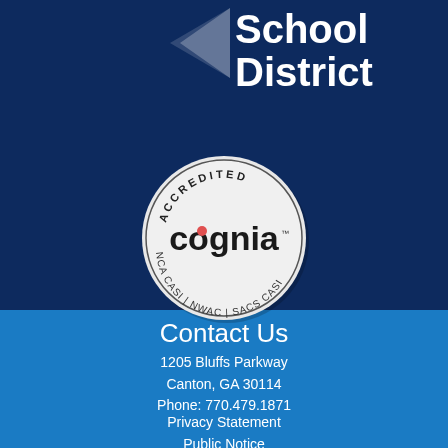School District
[Figure (logo): Cognia accredited seal — circular badge with 'ACCREDITED' at top, 'cognia' logo in center, 'NCA CASI | NWAC | SACS CASI' around the bottom]
Contact Us
1205 Bluffs Parkway
Canton, GA 30114
Phone: 770.479.1871
Privacy Statement
Public Notice